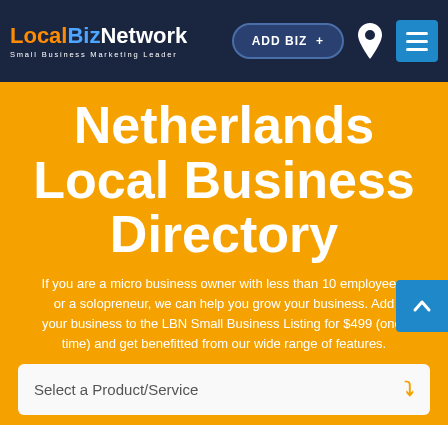[Figure (logo): LocalBizNetwork logo with tagline 'Small Business Marketing Leader']
Netherlands Local Business Directory
If you are a micro business owner with less than 10 employees, or a solopreneur, we can help you grow your business. Add your business to the LBN Small Business Listing for $499 (one-time) and get benefitted from our wide range of features.
Select a Product/Service